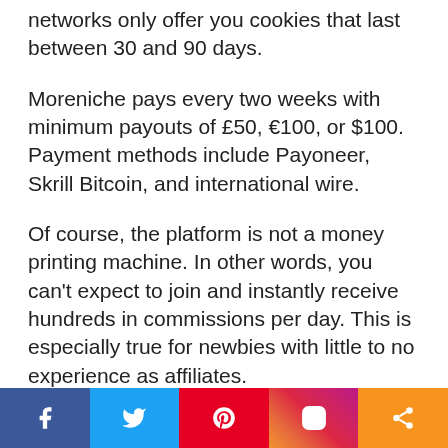networks only offer you cookies that last between 30 and 90 days.
Moreniche pays every two weeks with minimum payouts of £50, €100, or $100. Payment methods include Payoneer, Skrill Bitcoin, and international wire.
Of course, the platform is not a money printing machine. In other words, you can't expect to join and instantly receive hundreds in commissions per day. This is especially true for newbies with little to no experience as affiliates.
Still, Moreniche is an interesting option to try.
[Figure (other): Social sharing bar with icons for Facebook, Twitter, Pinterest, Instagram, and a share button]